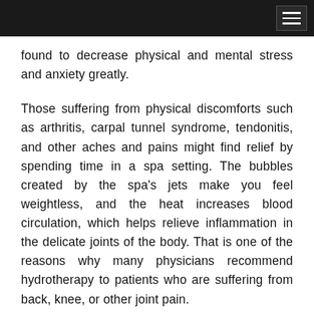[navigation bar with hamburger menu]
found to decrease physical and mental stress and anxiety greatly.
Those suffering from physical discomforts such as arthritis, carpal tunnel syndrome, tendonitis, and other aches and pains might find relief by spending time in a spa setting. The bubbles created by the spa's jets make you feel weightless, and the heat increases blood circulation, which helps relieve inflammation in the delicate joints of the body. That is one of the reasons why many physicians recommend hydrotherapy to patients who are suffering from back, knee, or other joint pain.